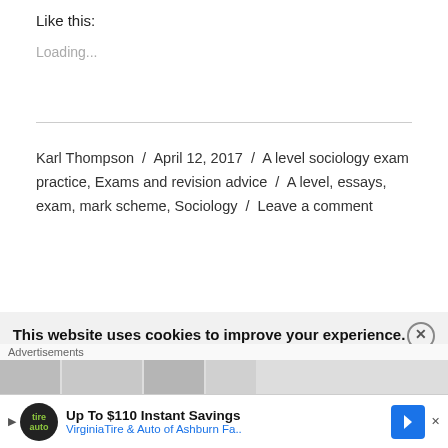Like this:
Loading...
Karl Thompson / April 12, 2017 / A level sociology exam practice, Exams and revision advice / A level, essays, exam, mark scheme, Sociology / Leave a comment
This website uses cookies to improve your experience.
Advertisements
Up To $110 Instant Savings
VirginiaTire & Auto of Ashburn Fa..